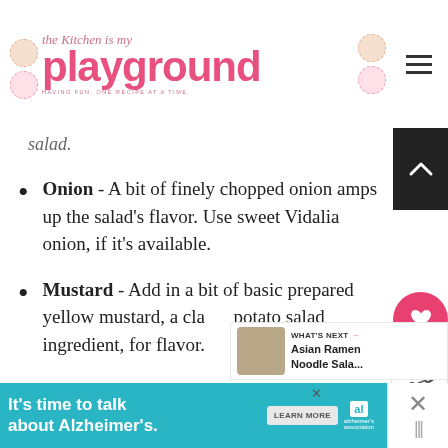The Kitchen is my Playground — HAVING FUN, ONE RECIPE AT A TIME
pickle relish brings great flavor... punch to the salad.
Onion - A bit of finely chopped onion amps up the salad's flavor. Use sweet Vidalia onion, if it's available.
Mustard - Add in a bit of basic prepared yellow mustard, a classic potato salad ingredient, for flavor.
WHAT'S NEXT → Asian Ramen Noodle Sala...
It's time to talk about Alzheimer's. LEARN MORE